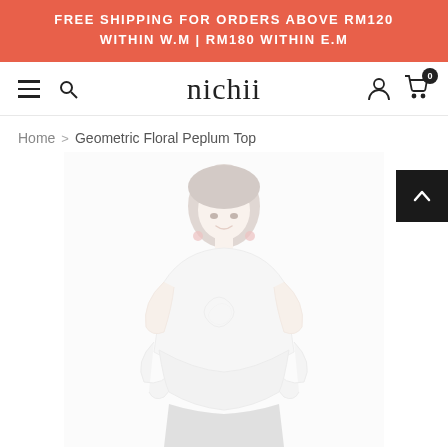FREE SHIPPING FOR ORDERS ABOVE RM120 WITHIN W.M | RM180 WITHIN E.M
nichii
Home > Geometric Floral Peplum Top
[Figure (photo): A young Asian woman modeling a white geometric floral peplum top with black bottoms, photographed against a white background. The image is slightly faded/low contrast.]